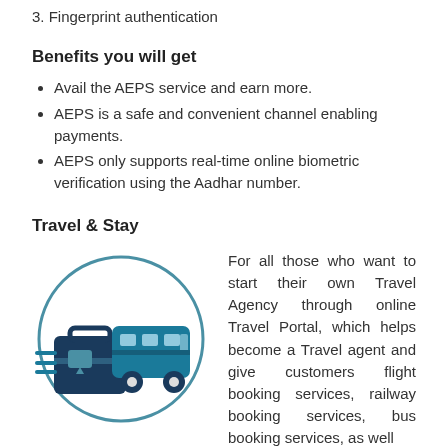3. Fingerprint authentication
Benefits you will get
Avail the AEPS service and earn more.
AEPS is a safe and convenient channel enabling payments.
AEPS only supports real-time online biometric verification using the Aadhar number.
Travel & Stay
[Figure (illustration): Icon showing a travel bag/briefcase and a bus inside a circle, in dark teal/blue color scheme, representing travel services.]
For all those who want to start their own Travel Agency through online Travel Portal, which helps become a Travel agent and give customers flight booking services, railway booking services, bus booking services, as well